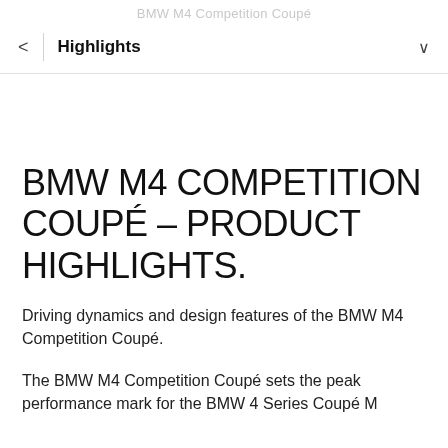BMW M4 Competition Coupé
< Highlights ∨
BMW M4 COMPETITION COUPÉ – PRODUCT HIGHLIGHTS.
Driving dynamics and design features of the BMW M4 Competition Coupé.
The BMW M4 Competition Coupé sets the peak performance mark for the BMW 4 Series Coupé M